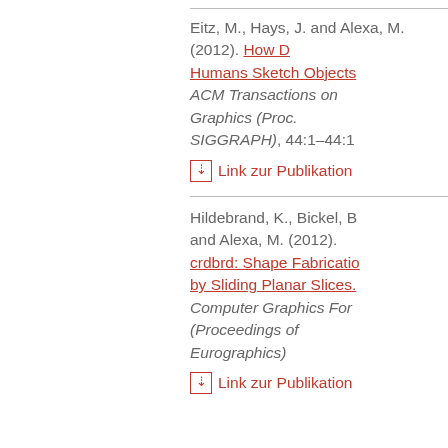Eitz, M., Hays, J. and Alexa, M. (2012). How Do Humans Sketch Objects. ACM Transactions on Graphics (Proc. SIGGRAPH), 44:1–44:1
Link zur Publikation
Hildebrand, K., Bickel, B. and Alexa, M. (2012). crdbrd: Shape Fabrication by Sliding Planar Slices. Computer Graphics Forum (Proceedings of Eurographics)
Link zur Publikation